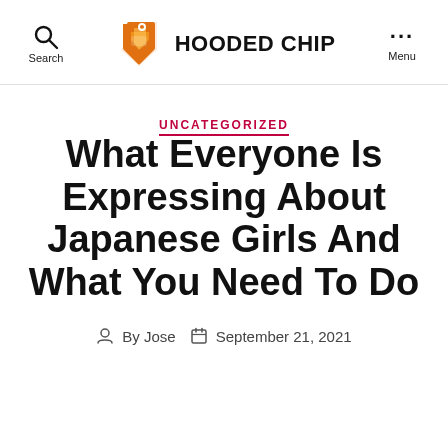Search  HOODED CHIP  Menu
UNCATEGORIZED
What Everyone Is Expressing About Japanese Girls And What You Need To Do
By Jose  September 21, 2021